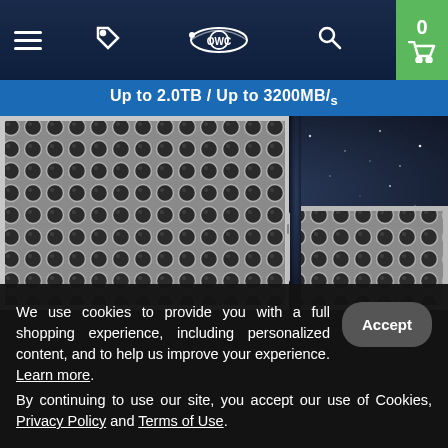[Figure (screenshot): OWC website navigation bar with hamburger menu, tag/label icon, OWC orbit logo, search icon, and green cart button showing 0 items]
Up to 2.0TB / Up to 3200MB/s
[Figure (photo): Close-up product photo of Mac Pro cheese-grater aluminum chassis with circular hole pattern, shown against a dark starry background. Two Mac Pro units visible - one large on the left, one smaller on the right.]
We use cookies to provide you with a full shopping experience, including personalized content, and to help us improve your experience. Learn more.
By continuing to use our site, you accept our use of Cookies, Privacy Policy and Terms of Use.